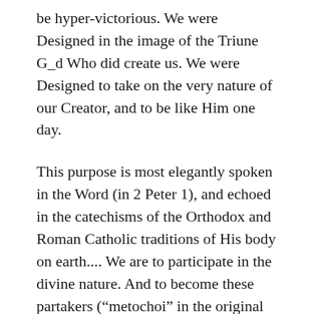be hyper-victorious. We were Designed in the image of the Triune G_d Who did create us. We were Designed to take on the very nature of our Creator, and to be like Him one day.
This purpose is most elegantly spoken in the Word (in 2 Peter 1), and echoed in the catechisms of the Orthodox and Roman Catholic traditions of His body on earth.... We are to participate in the divine nature. And to become these partakers (“metochoi” in the original language) of G_d is to simply fulfill the purpose of our creation by the Creator: